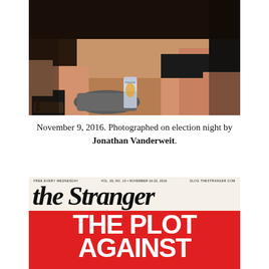[Figure (photo): Close-up photograph of people sitting on a floor, showing their legs and feet, with a beer can visible in the center. Shot on election night November 9, 2016.]
November 9, 2016. Photographed on election night by Jonathan Vanderweit.
[Figure (photo): Cover of The Stranger newspaper/magazine with red background. Header reads 'FREE EVERY WEDNESDAY', 'VOL. 26, NO. 13 • NOVEMBER 16-22, 2016', 'SLOG.THESTRANGER.COM'. Large masthead 'the Stranger' in black serif italic font. Below in large white bold text: 'THE PLOT AGAINST']